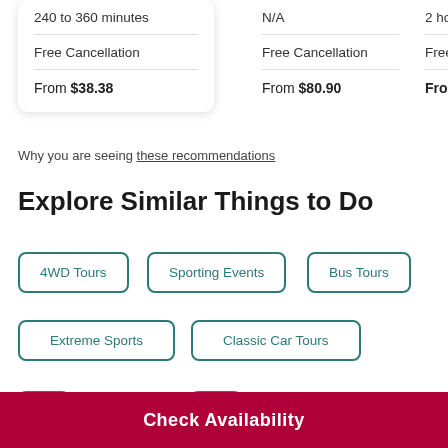240 to 360 minutes
Free Cancellation
From $38.38
N/A
Free Cancellation
From $80.90
2 hou
Free
From
Why you are seeing these recommendations
Explore Similar Things to Do
4WD Tours
Sporting Events
Bus Tours
Extreme Sports
Classic Car Tours
Check Availability